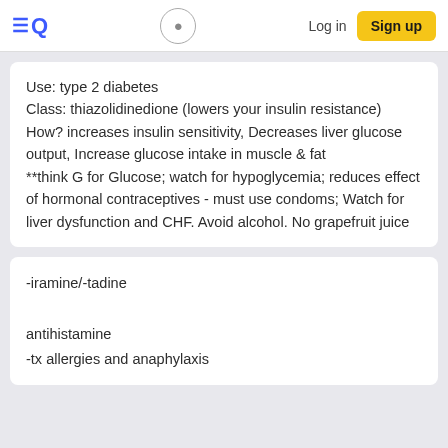Quizlet navigation bar with logo, search, Log in, Sign up
Use: type 2 diabetes
Class: thiazolidinedione (lowers your insulin resistance)
How? increases insulin sensitivity, Decreases liver glucose output, Increase glucose intake in muscle & fat
**think G for Glucose; watch for hypoglycemia; reduces effect of hormonal contraceptives - must use condoms; Watch for liver dysfunction and CHF. Avoid alcohol. No grapefruit juice
-iramine/-tadine

antihistamine
-tx allergies and anaphylaxis